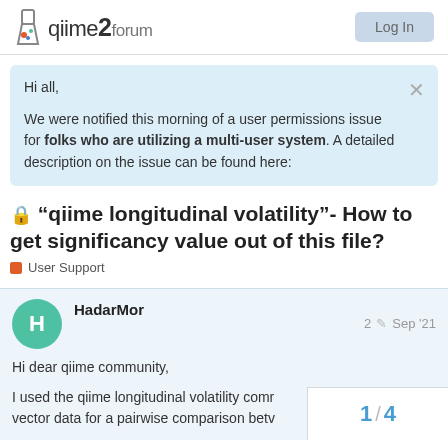qiime2 forum
Hi all,

We were notified this morning of a user permissions issue for folks who are utilizing a multi-user system. A detailed description on the issue can be found here:
"qiime longitudinal volatility"- How to get significancy value out of this file?
User Support
HadarMor  2  Sep '21
Hi dear qiime community,

I used the qiime longitudinal volatility comm vector data for a pairwise comparison betv
1 / 4